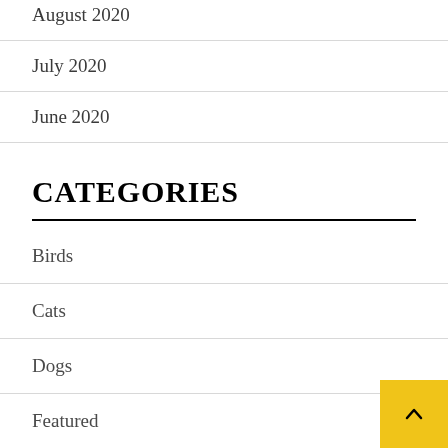August 2020
July 2020
June 2020
CATEGORIES
Birds
Cats
Dogs
Featured